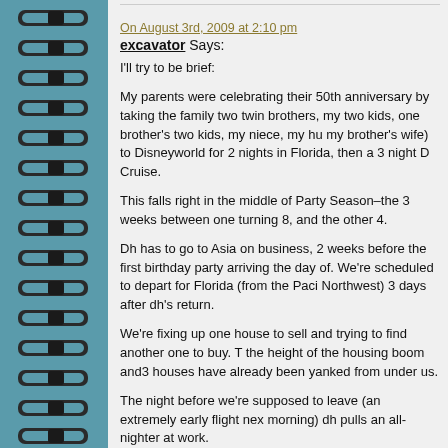On August 3rd, 2009 at 2:10 pm
excavator Says:
I'll try to be brief:
My parents were celebrating their 50th anniversary by taking the family two twin brothers, my two kids, one brother's two kids, my niece, my hu my brother's wife) to Disneyworld for 2 nights in Florida, then a 3 night D Cruise.
This falls right in the middle of Party Season–the 3 weeks between one turning 8, and the other 4.
Dh has to go to Asia on business, 2 weeks before the first birthday party arriving the day of. We're scheduled to depart for Florida (from the Paci Northwest) 3 days after dh's return.
We're fixing up one house to sell and trying to find another one to buy. T the height of the housing boom and3 houses have already been yanked from under us.
The night before we're supposed to leave (an extremely early flight nex morning) dh pulls an all-nighter at work.